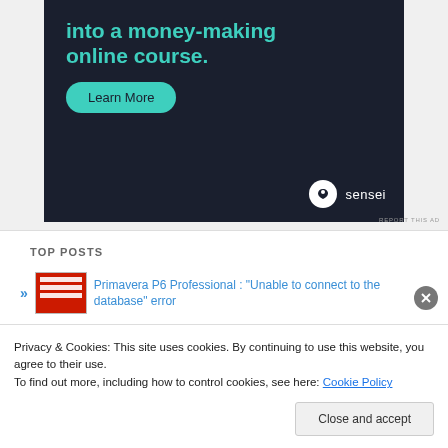[Figure (illustration): Dark navy advertisement banner for Sensei with teal headline text 'into a money-making online course.' and a teal 'Learn More' pill button. Sensei brand logo at bottom right.]
REPORT THIS AD
TOP POSTS
Primavera P6 Professional : "Unable to connect to the database" error
Privacy & Cookies: This site uses cookies. By continuing to use this website, you agree to their use.
To find out more, including how to control cookies, see here: Cookie Policy
Close and accept